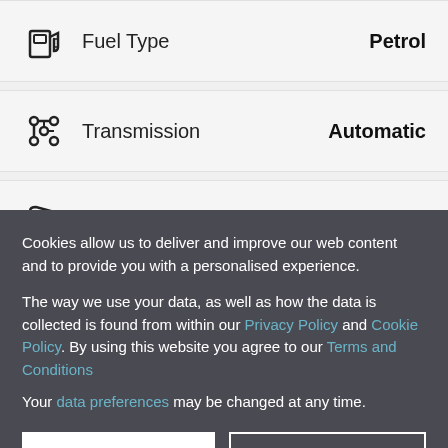Fuel Type — Petrol
Transmission — Automatic
Doors — 2
T... Engine Si... (partially visible)
Cookies allow us to deliver and improve our web content and to provide you with a personalised experience.

The way we use your data, as well as how the data is collected is found from within our Privacy Policy and Cookie Policy. By using this website you agree to our Terms and Conditions

Your data preferences may be changed at any time.
Accept
Decline